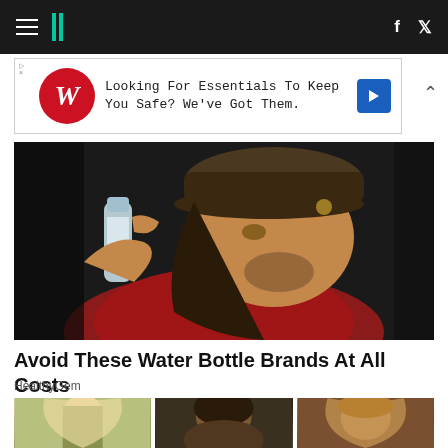HuffPost navigation bar with hamburger menu, logo, Facebook and Twitter icons
[Figure (screenshot): Walgreens advertisement banner: 'Looking For Essentials To Keep You Safe? We've Got Them.' with Walgreens logo and blue arrow icon]
[Figure (photo): Man drinking from a water bottle, wearing a baseball cap and red shirt, dark background]
Avoid These Water Bottle Brands At All Costs
HealthyGem
[Figure (photo): Three celebrity thumbnail photos in a row: blonde woman in green dress, man looking down, woman with highlighted hair]